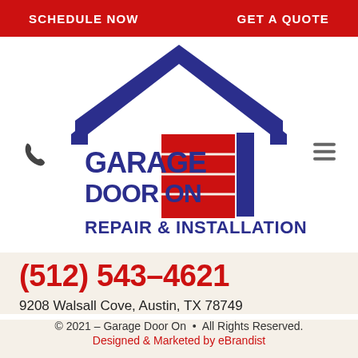SCHEDULE NOW   GET A QUOTE
[Figure (logo): Garage Door On Repair & Installation logo with blue house outline, red garage door panels, and blue bold text]
(512) 543-4621
9208 Walsall Cove, Austin, TX 78749
© 2021 – Garage Door On  •  All Rights Reserved.
Designed & Marketed by eBrandist